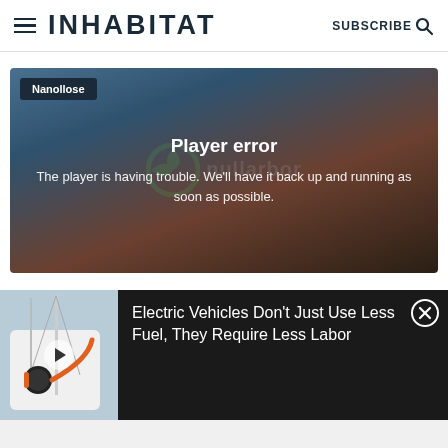INHABITAT | SUBSCRIBE
[Figure (screenshot): Video player error screen with dark gradient background showing 'Nanollose' tag and Nullarbor logo watermark. Error message reads: Player error. The player is having trouble. We'll have it back up and running as soon as possible.]
[Figure (screenshot): Ad banner at bottom showing electric vehicle charging port thumbnail image and text: Electric Vehicles Don't Just Use Less Fuel, They Require Less Labor. Close button (X) in top right.]